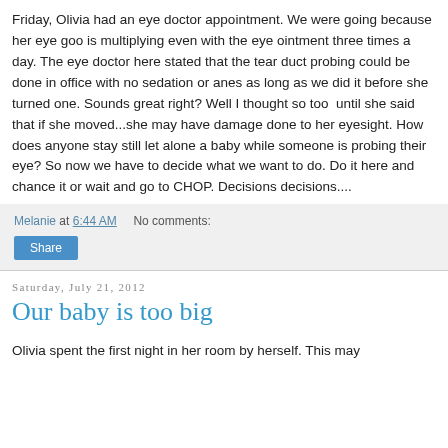Friday, Olivia had an eye doctor appointment. We were going because her eye goo is multiplying even with the eye ointment three times a day. The eye doctor here stated that the tear duct probing could be done in office with no sedation or anes as long as we did it before she turned one. Sounds great right? Well I thought so too  until she said that if she moved...she may have damage done to her eyesight. How does anyone stay still let alone a baby while someone is probing their eye? So now we have to decide what we want to do. Do it here and chance it or wait and go to CHOP. Decisions decisions....
Melanie at 6:44 AM    No comments:
Share
Saturday, July 21, 2012
Our baby is too big
Olivia spent the first night in her room by herself. This may